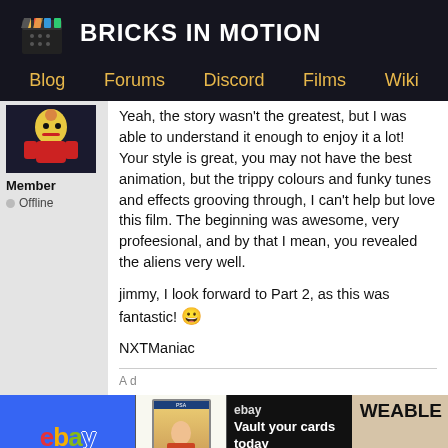BRICKS IN MOTION
Blog  Forums  Discord  Films  Wiki
Yeah, the story wasn't the greatest, but I was able to understand it enough to enjoy it a lot! Your style is great, you may not have the best animation, but the trippy colours and funky tunes and effects grooving through, I can't help but love this film. The beginning was awesome, very profeesional, and by that I mean, you revealed the aliens very well.

jimmy, I look forward to Part 2, as this was fantastic! 😀

NXTManiac
Member
Offline
[Figure (screenshot): eBay advertisement banner showing ebay logo, a graded sports card, and vault your cards today text]
THERE IS TO OFTEN MORE